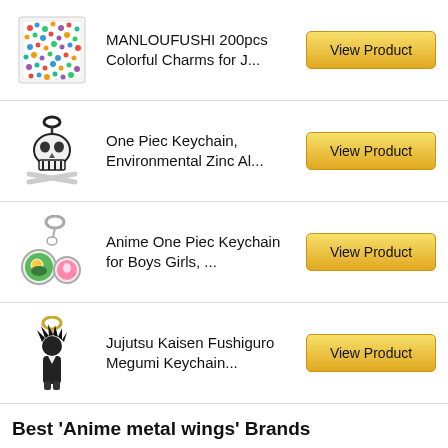MANLOUFUSHI 200pcs Colorful Charms for J...
One Piec Keychain, Environmental Zinc Al...
Anime One Piec Keychain for Boys Girls, ...
Jujutsu Kaisen Fushiguro Megumi Keychain...
Best 'Anime metal wings' Brands